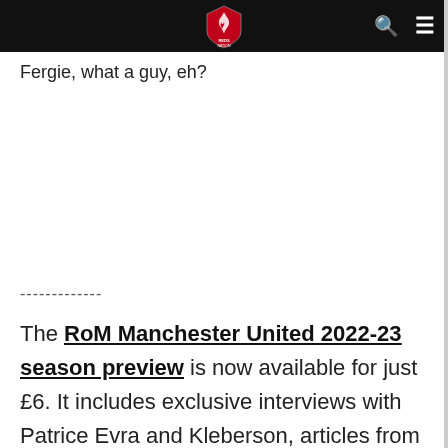RoM Manchester United — navigation bar with logo, search, and menu icons
Fergie, what a guy, eh?
-------------
The RoM Manchester United 2022-23 season preview is now available for just £6. It includes exclusive interviews with Patrice Evra and Kleberson, articles from the country's best football writers about our expectations for the season ahead and our brightest talents, as well as